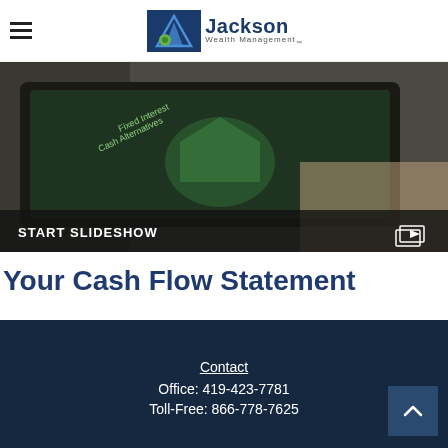Jackson Wealth Management
[Figure (screenshot): A hand holding a tablet displaying a portfolio chart with categories: Fixed Interest, Cash Alternatives. Dark overlay at bottom shows 'START SLIDESHOW' text and a play icon.]
Your Cash Flow Statement
A presentation about managing money: using it, saving it, and even getting credit.
Contact
Office: 419-423-7781
Toll-Free: 866-778-7625